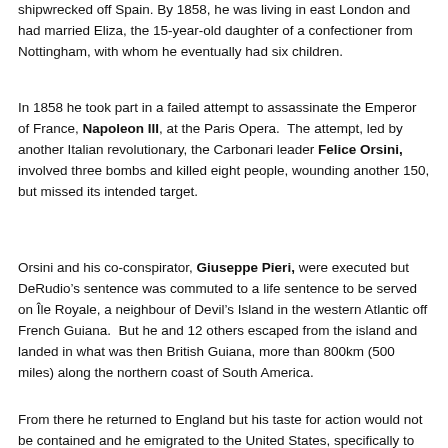shipwrecked off Spain. By 1858, he was living in east London and had married Eliza, the 15-year-old daughter of a confectioner from Nottingham, with whom he eventually had six children.
In 1858 he took part in a failed attempt to assassinate the Emperor of France, Napoleon III, at the Paris Opera. The attempt, led by another Italian revolutionary, the Carbonari leader Felice Orsini, involved three bombs and killed eight people, wounding another 150, but missed its intended target.
Orsini and his co-conspirator, Giuseppe Pieri, were executed but DeRudio’s sentence was commuted to a life sentence to be served on Île Royale, a neighbour of Devil’s Island in the western Atlantic off French Guiana. But he and 12 others escaped from the island and landed in what was then British Guiana, more than 800km (500 miles) along the northern coast of South America.
From there he returned to England but his taste for action would not be contained and he emigrated to the United States, specifically to fight on the Union side in the Civil War